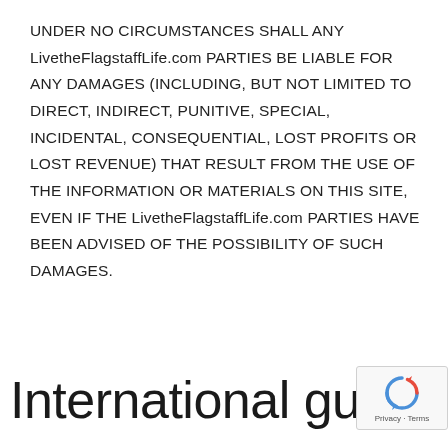UNDER NO CIRCUMSTANCES SHALL ANY LivetheFlagstaffLife.com PARTIES BE LIABLE FOR ANY DAMAGES (INCLUDING, BUT NOT LIMITED TO DIRECT, INDIRECT, PUNITIVE, SPECIAL, INCIDENTAL, CONSEQUENTIAL, LOST PROFITS OR LOST REVENUE) THAT RESULT FROM THE USE OF THE INFORMATION OR MATERIALS ON THIS SITE, EVEN IF THE LivetheFlagstaffLife.com PARTIES HAVE BEEN ADVISED OF THE POSSIBILITY OF SUCH DAMAGES.
International gues